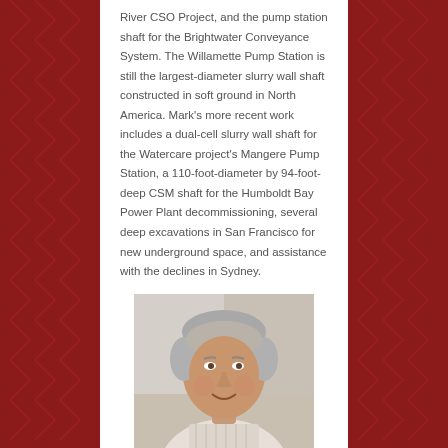River CSO Project, and the pump station shaft for the Brightwater Conveyance System. The Willamette Pump Station is still the largest-diameter slurry wall shaft constructed in soft ground in North America. Mark's more recent work includes a dual-cell slurry wall shaft for the Watercare project's Mangere Pump Station, a 110-foot-diameter by 94-foot-deep CSM shaft for the Humboldt Bay Power Plant decommissioning, several deep excavations in San Francisco for new underground space, and assistance with the declines in Sydney.
[Figure (photo): Portrait photo of a middle-aged man with grey hair, smiling, wearing a striped shirt, with a light background.]